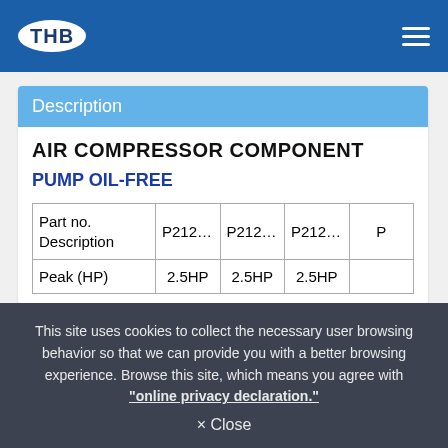THB
Description
AIR COMPRESSOR COMPONENT
PUMP OIL-FREE
| Part no. Description | P212-M116 | P212-M225 | P212-M226 | P… |
| --- | --- | --- | --- | --- |
| Peak (HP) | 2.5HP | 2.5HP | 2.5HP |  |
This site uses cookies to collect the necessary user browsing behavior so that we can provide you with a better browsing experience. Browse this site, which means you agree with "online privacy declaration."
× Close